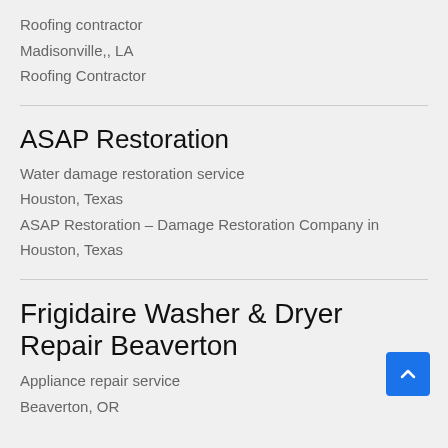Roofing contractor
Madisonville,, LA
Roofing Contractor
ASAP Restoration
Water damage restoration service
Houston, Texas
ASAP Restoration – Damage Restoration Company in Houston, Texas
Frigidaire Washer & Dryer Repair Beaverton
Appliance repair service
Beaverton, OR